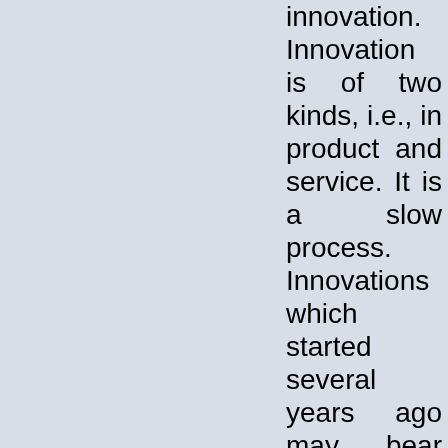innovation. Innovation is of two kinds, i.e., in product and service. It is a slow process. Innovations which started several years ago may bear fruit now. Innovation involves the bringing of an invention into commercial use. In some cases, invention and innovation